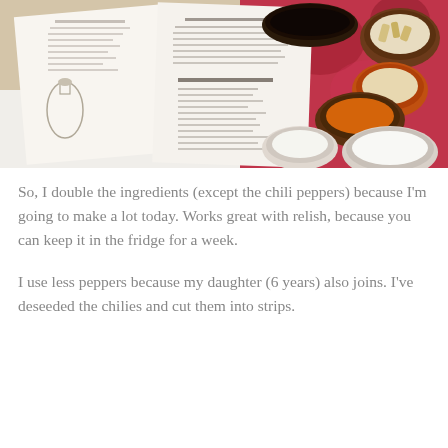[Figure (photo): A photo of an open cookbook/recipe book alongside several small bowls containing spices and ingredients (white powder/salt, orange spice/turmeric, pale cream mixture, yellow strips) arranged on a colorful pink/red patterned textile. The book is open to a recipe page with text and an illustration of a glass bottle.]
So, I double the ingredients (except the chili peppers) because I'm going to make a lot today. Works great with relish, because you can keep it in the fridge for a week.
I use less peppers because my daughter (6 years) also joins. I've deseeded the chilies and cut them into strips.